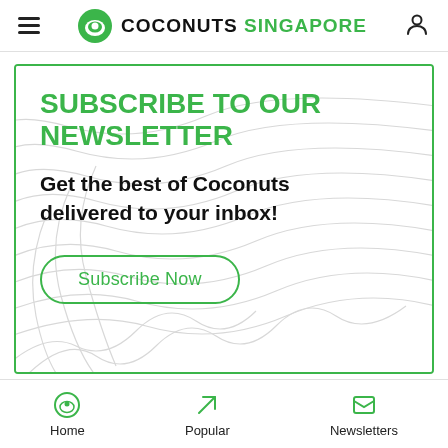Coconuts Singapore
SUBSCRIBE TO OUR NEWSLETTER
Get the best of Coconuts delivered to your inbox!
Subscribe Now
Home | Popular | Newsletters